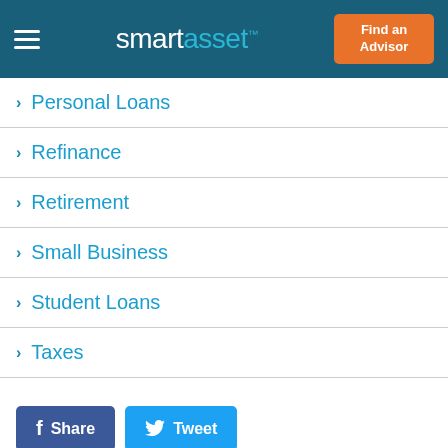smartasset
Personal Loans
Refinance
Retirement
Small Business
Student Loans
Taxes
[Figure (other): Social sharing buttons: Share (Facebook) and Tweet (Twitter)]
7 Situations When You Need a